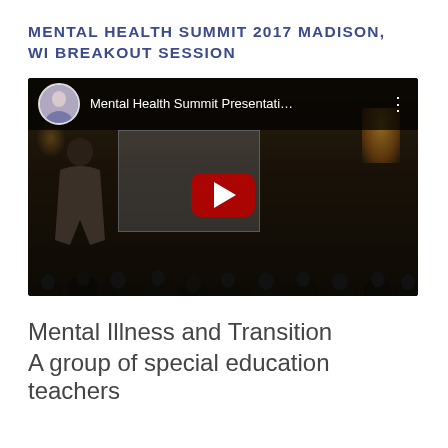MENTAL HEALTH SUMMIT 2017 MADISON, WI BREAKOUT SESSION
[Figure (screenshot): YouTube video thumbnail showing a dark conference room with a presenter at a projector screen. The YouTube player top bar shows a profile avatar, the title 'Mental Health Summit Presentati…', a three-dot menu, and a large red YouTube play button in the center.]
Mental Illness and Transition
A group of special education teachers